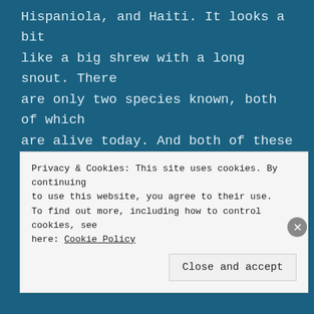Hispaniola, and Haiti. It looks a bit like a big shrew with a long snout. There are only two species known, both of which are alive today. And both of these species belong to a family that is separate from all other mammals, which indicates that the solenodons are their own kind.
Privacy & Cookies: This site uses cookies. By continuing to use this website, you agree to their use. To find out more, including how to control cookies, see here: Cookie Policy
Close and accept